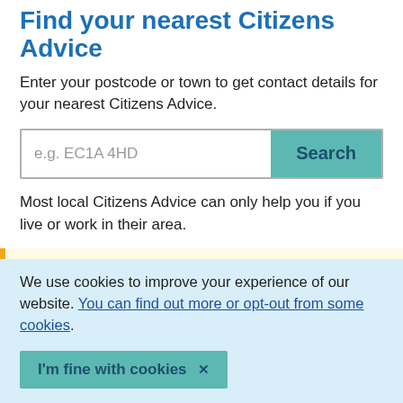Find your nearest Citizens Advice
Enter your postcode or town to get contact details for your nearest Citizens Advice.
[Figure (screenshot): Search box with placeholder text 'e.g. EC1A 4HD' and a teal 'Search' button]
Most local Citizens Advice can only help you if you live or work in their area.
Coronavirus - changes to our service
We use cookies to improve your experience of our website. You can find out more or opt-out from some cookies.
I'm fine with cookies ✕